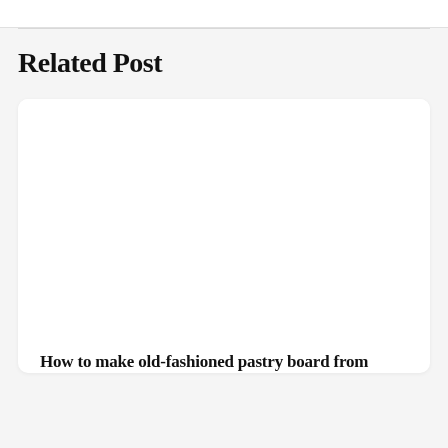Related Post
[Figure (photo): Blank white card image area for a related post thumbnail]
How to make old-fashioned pastry board from